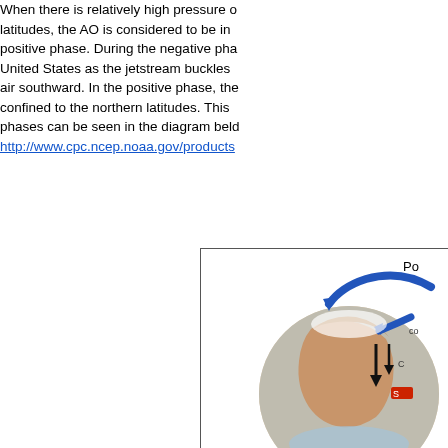When there is relatively high pressure over the polar latitudes, the AO is considered to be in the positive phase. During the negative phase, the United States as the jetstream buckles and funnels cold air southward. In the positive phase, the cold air is confined to the northern latitudes. This contrast in phases can be seen in the diagram below: http://www.cpc.ncep.noaa.gov/products
[Figure (illustration): Diagram showing the positive phase of the Arctic Oscillation (AO). A globe showing North America with blue arrows indicating cold polar air circulation and orange arrows indicating warmer air patterns. Label 'Po' (positive) visible at top right of diagram.]